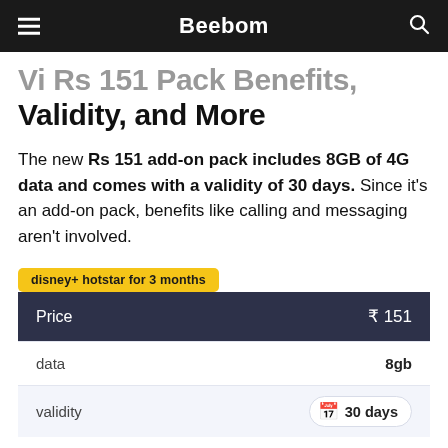Beebom
Vi Rs 151 Pack Benefits, Validity, and More
The new Rs 151 add-on pack includes 8GB of 4G data and comes with a validity of 30 days. Since it's an add-on pack, benefits like calling and messaging aren't involved.
disney+ hotstar for 3 months
|  |  |
| --- | --- |
| Price | ₹ 151 |
| data | 8gb |
| validity | 30 days |